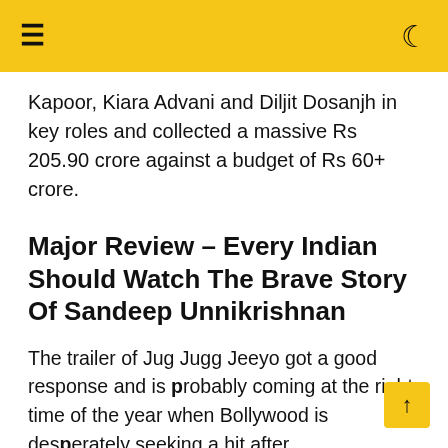☰  ☾
Kapoor, Kiara Advani and Diljit Dosanjh in key roles and collected a massive Rs 205.90 crore against a budget of Rs 60+ crore.
Major Review – Every Indian Should Watch The Brave Story Of Sandeep Unnikrishnan
The trailer of Jug Jugg Jeeyo got a good response and is probably coming at the right time of the year when Bollywood is desperately seeking a hit after underwhelming response from Samrat Prithviraj. Jug Jugg Jeeyo will take advantage of the situation at the ticket window. The movie has impressive star cast, comprising of Anil Kapoor, Neetu Kapoor, Varun Dhawan and Kiara Advani while the makers have chosen of Jug Jugg…